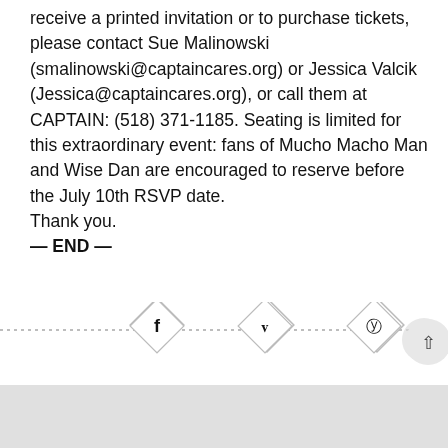receive a printed invitation or to purchase tickets, please contact Sue Malinowski (smalinowski@captaincares.org) or Jessica Valcik (Jessica@captaincares.org), or call them at CAPTAIN: (518) 371-1185. Seating is limited for this extraordinary event: fans of Mucho Macho Man and Wise Dan are encouraged to reserve before the July 10th RSVP date.
Thank you.
— END —
[Figure (infographic): Social sharing icons (Facebook, Twitter, Pinterest) as diamond-shaped buttons on a dotted horizontal line, with a scroll-to-top button on the right]